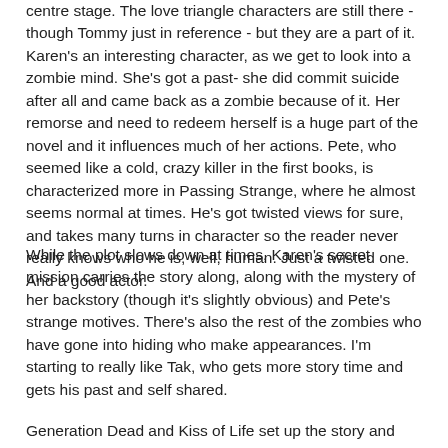centre stage. The love triangle characters are still there - though Tommy just in reference - but they are a part of it. Karen's an interesting character, as we get to look into a zombie mind. She's got a past- she did commit suicide after all and came back as a zombie because of it. Her remorse and need to redeem herself is a huge part of the novel and it influences much of her actions. Pete, who seemed like a cold, crazy killer in the first books, is characterized more in Passing Strange, where he almost seems normal at times. He's got twisted views for sure, and takes many turns in character so the reader never really knows who he is, well, human. Just a twisted one. And a good actor.
While the plot slows down at times, Karen's secret mission carries the story along, along with the mystery of her backstory (though it's slightly obvious) and Pete's strange motives. There's also the rest of the zombies who have gone into hiding who make appearances. I'm starting to really like Tak, who gets more story time and gets his past and self shared.
Generation Dead and Kiss of Life set up the story and